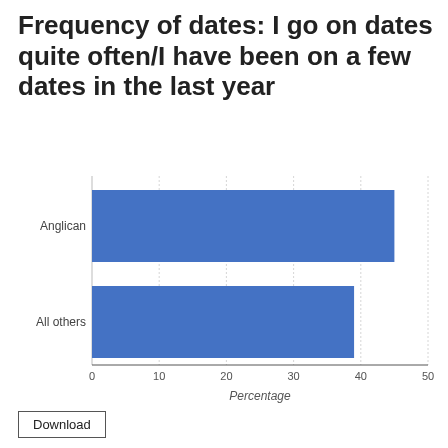Frequency of dates: I go on dates quite often/I have been on a few dates in the last year
[Figure (bar-chart): Frequency of dates: I go on dates quite often/I have been on a few dates in the last year]
Download